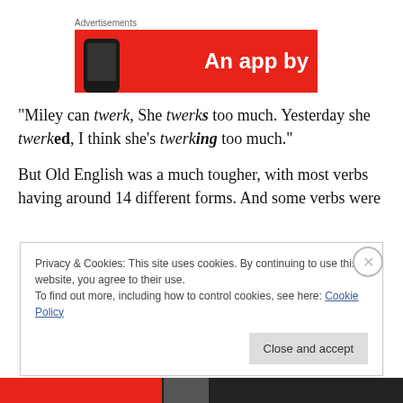[Figure (other): Red advertisement banner with text 'An app by' and a phone image]
“Miley can twerk, She twerks too much. Yesterday she twerked, I think she’s twerking too much.”
But Old English was a much tougher, with most verbs having around 14 different forms. And some verbs were
Privacy & Cookies: This site uses cookies. By continuing to use this website, you agree to their use.
To find out more, including how to control cookies, see here: Cookie Policy
Close and accept